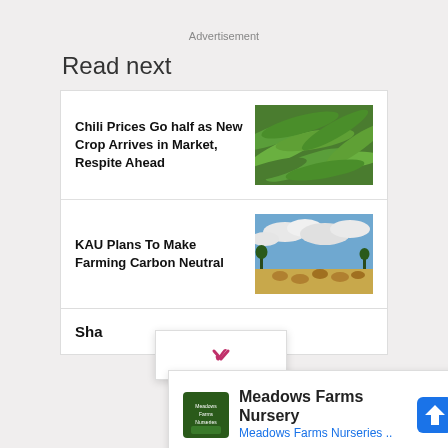Advertisement
Read next
Chili Prices Go half as New Crop Arrives in Market, Respite Ahead
[Figure (photo): Close-up photo of green chili peppers piled together]
KAU Plans To Make Farming Carbon Neutral
[Figure (photo): Farm landscape with hay bales under a blue cloudy sky]
Sha
[Figure (other): Dropdown chevron button panel]
[Figure (other): Meadows Farms Nursery advertisement panel with logo and navigation icon]